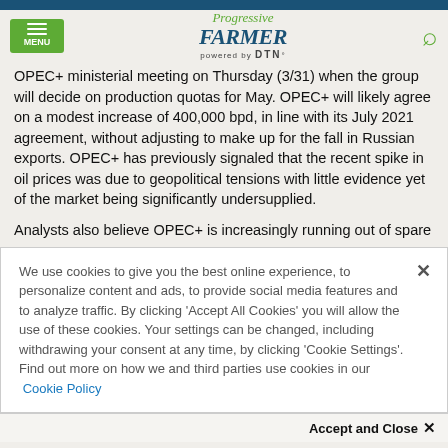Progressive Farmer powered by DTN
OPEC+ ministerial meeting on Thursday (3/31) when the group will decide on production quotas for May. OPEC+ will likely agree on a modest increase of 400,000 bpd, in line with its July 2021 agreement, without adjusting to make up for the fall in Russian exports. OPEC+ has previously signaled that the recent spike in oil prices was due to geopolitical tensions with little evidence yet of the market being significantly undersupplied.
Analysts also believe OPEC+ is increasingly running out of spare
We use cookies to give you the best online experience, to personalize content and ads, to provide social media features and to analyze traffic. By clicking 'Accept All Cookies' you will allow the use of these cookies. Your settings can be changed, including withdrawing your consent at any time, by clicking 'Cookie Settings'. Find out more on how we and third parties use cookies in our Cookie Policy
Accept and Close
Your browser settings do not allow cross-site tracking for advertising. Click on this page to allow AdRoll to use cross-site tracking to tailor ads to you. Learn more or opt out of this AdRoll tracking by clicking here. This message only appears once.